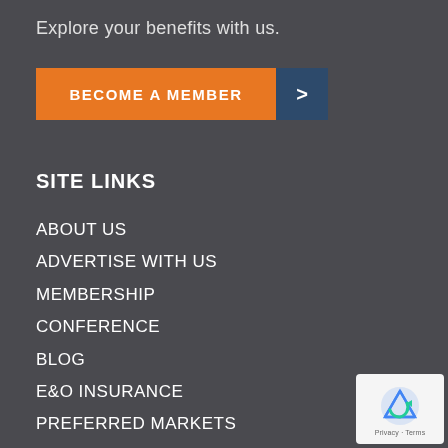Explore your benefits with us.
[Figure (other): Orange 'BECOME A MEMBER' button with dark blue arrow button to the right]
SITE LINKS
ABOUT US
ADVERTISE WITH US
MEMBERSHIP
CONFERENCE
BLOG
E&O INSURANCE
PREFERRED MARKETS
LEAD GENERATION
[Figure (other): reCAPTCHA privacy badge in bottom right corner]